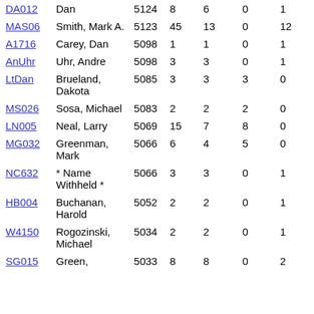| Code | Name | Col3 | Col4 | Col5 | Col6 | Col7 |
| --- | --- | --- | --- | --- | --- | --- |
| DA012 | Dan | 5124 | 8 | 6 | 0 | 1 |
| MAS06 | Smith, Mark A. | 5123 | 45 | 13 | 0 | 12 |
| A1716 | Carey, Dan | 5098 | 1 | 1 | 0 | 1 |
| AnUhr | Uhr, Andre | 5098 | 3 | 3 | 0 | 1 |
| LtDan | Brueland, Dakota | 5085 | 3 | 3 | 3 | 0 |
| MS026 | Sosa, Michael | 5083 | 2 | 2 | 2 | 0 |
| LN005 | Neal, Larry | 5069 | 15 | 7 | 8 | 0 |
| MG032 | Greenman, Mark | 5066 | 6 | 4 | 5 | 0 |
| NC632 | * Name Withheld * | 5066 | 3 | 3 | 0 | 1 |
| HB004 | Buchanan, Harold | 5052 | 2 | 2 | 0 | 1 |
| W4150 | Rogozinski, Michael | 5034 | 2 | 2 | 0 | 1 |
| SG015 | Green, ... | 5033 | 8 | 8 | 0 | 2 |